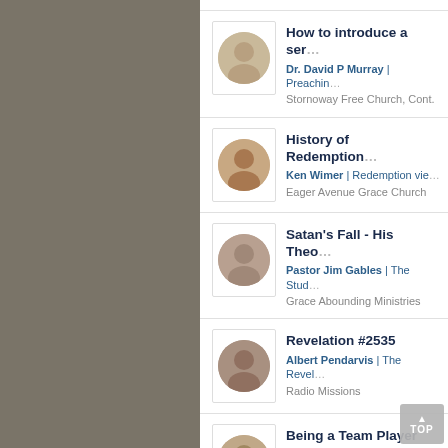How to introduce a ser... | Dr. David P Murray | Preachin... | Stornoway Free Church, Cont.
History of Redemption... | Ken Wimer | Redemption vie... | Eager Avenue Grace Church
Satan's Fall - His Theo... | Pastor Jim Gables | The Stud... | Grace Abounding Ministries
Revelation #2535 | Albert Pendarvis | The Revel... | Radio Missions
Being a Team Player 5... | Dr. Sam Horn | Being a Team... | The Word for Life